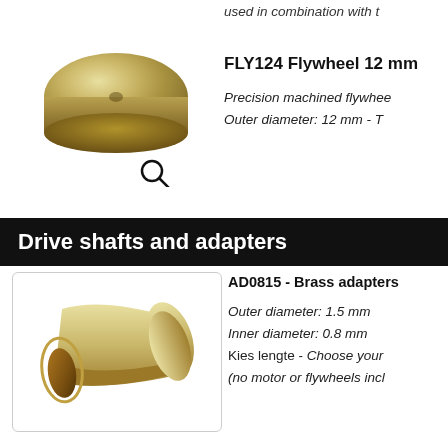used in combination with t
[Figure (photo): Gold/brass colored precision flywheel disk with center hole, viewed from slight angle, with magnify icon below]
FLY124 Flywheel 12 mm
Precision machined flywhee
Outer diameter: 12 mm - T
Drive shafts and adapters
[Figure (photo): Gold/brass colored hollow cylindrical tube adapter shown at angle, with open end facing viewer]
AD0815 - Brass adapters
Outer diameter: 1.5 mm
Inner diameter: 0.8 mm
Kies lengte - Choose your
(no motor or flywheels incl